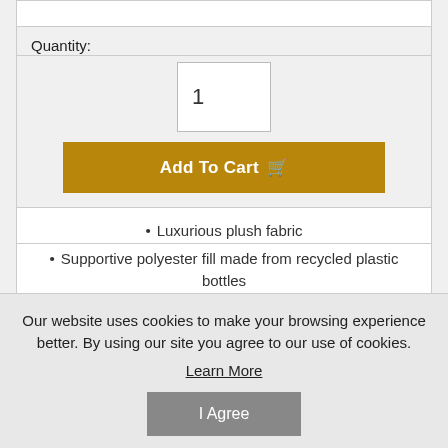Quantity:
1
Add To Cart
Luxurious plush fabric
Supportive polyester fill made from recycled plastic bottles
Machine wash cold gentle cycle
Our website uses cookies to make your browsing experience better. By using our site you agree to our use of cookies.
Learn More
I Agree